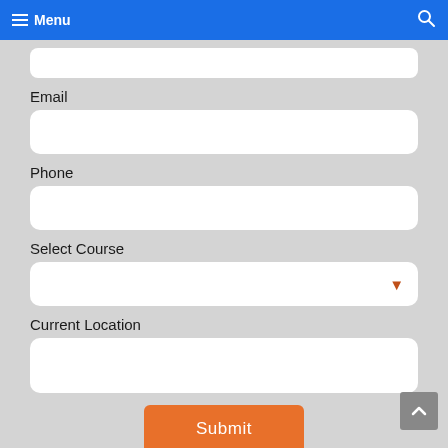Menu
[Figure (screenshot): Top input field (partially visible, cropped at top)]
Email
[Figure (screenshot): Email input field (white rounded rectangle)]
Phone
[Figure (screenshot): Phone input field (white rounded rectangle)]
Select Course
[Figure (screenshot): Select Course dropdown (white rounded rectangle with orange dropdown arrow)]
Current Location
[Figure (screenshot): Current Location input field (white rounded rectangle)]
Submit